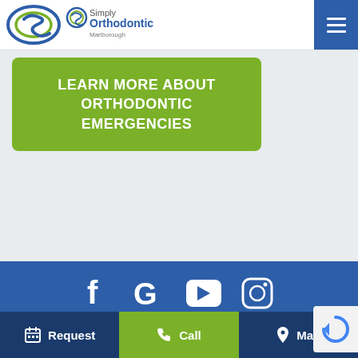[Figure (logo): Simply Orthodontics Marlborough logo with stylized S and text]
LEARN MORE ABOUT ORTHODONTIC EMERGENCIES
[Figure (infographic): Social media icons: Facebook, Google, YouTube, Instagram on dark blue background]
Request | Call | Map